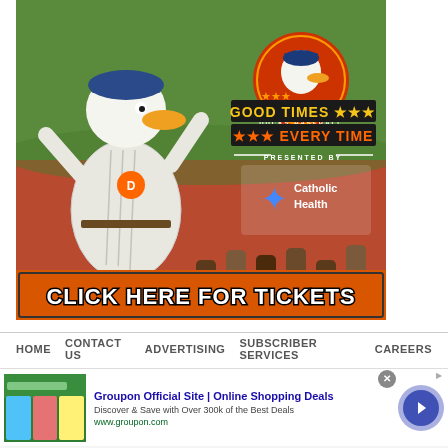[Figure (photo): Ducks Baseball promotional advertisement with duck mascot in baseball uniform celebrating, with 'GOOD TIMES EVERY TIME' logo, presented by Catholic Health, and 'CLICK HERE FOR TICKETS' button at bottom]
HOME   CONTACT US   ADVERTISING   SUBSCRIBER SERVICES   CAREERS
[Figure (screenshot): Groupon advertisement banner: 'Groupon Official Site | Online Shopping Deals' - Discover & Save with Over 300k of the Best Deals - www.groupon.com, with thumbnail images and arrow button]